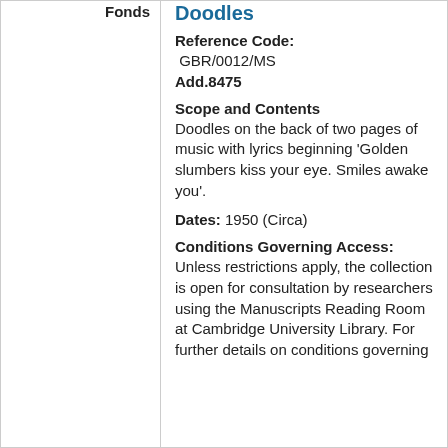Fonds
Doodles
Reference Code: GBR/0012/MS Add.8475
Scope and Contents
Doodles on the back of two pages of music with lyrics beginning 'Golden slumbers kiss your eye. Smiles awake you'.
Dates: 1950 (Circa)
Conditions Governing Access:
Unless restrictions apply, the collection is open for consultation by researchers using the Manuscripts Reading Room at Cambridge University Library. For further details on conditions governing